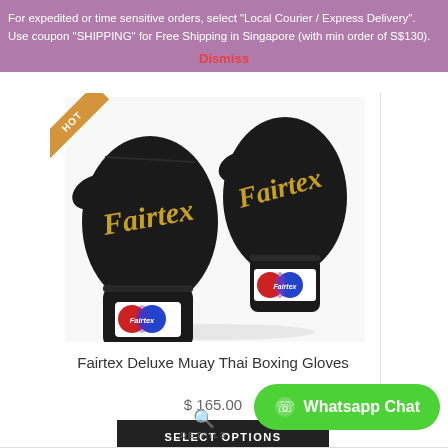For expedited or time sensitive orders, select "Local Courier / Express Delivery". Use coupon "SHIPPING" for Free Shipping in Singapore (with min order of S$130).
Dismiss
[Figure (photo): Fairtex black Muay Thai boxing gloves with gold text and Fairtex logo badge, shown stacked. HOT badge in corner.]
Fairtex Deluxe Muay Thai Boxing Gloves
$ 165.00
SELECT OPTIONS
DETAILS
Whatsapp Chat